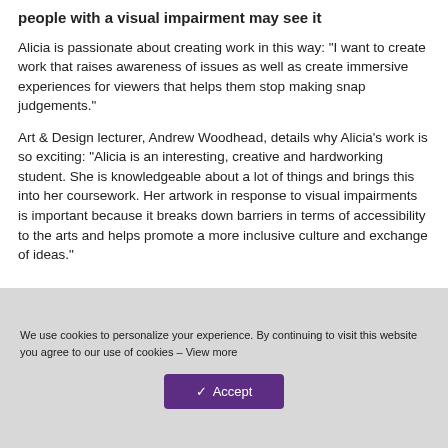people with a visual impairment may see it
Alicia is passionate about creating work in this way: "I want to create work that raises awareness of issues as well as create immersive experiences for viewers that helps them stop making snap judgements."
Art & Design lecturer, Andrew Woodhead, details why Alicia's work is so exciting: "Alicia is an interesting, creative and hardworking student. She is knowledgeable about a lot of things and brings this into her coursework. Her artwork in response to visual impairments is important because it breaks down barriers in terms of accessibility to the arts and helps promote a more inclusive culture and exchange of ideas."
We use cookies to personalize your experience. By continuing to visit this website you agree to our use of cookies – View more